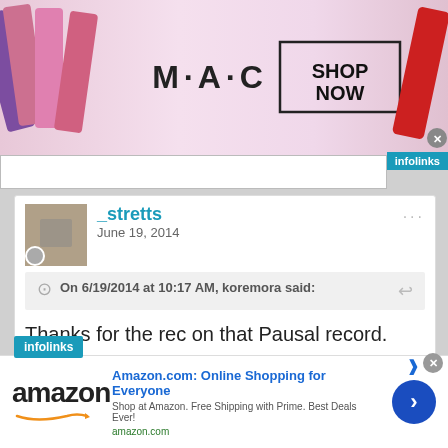[Figure (screenshot): MAC cosmetics advertisement banner with lipsticks on left and right, MAC logo in center, SHOP NOW button in bordered box]
[Figure (screenshot): Infolinks label top right corner]
_stretts
June 19, 2014
On 6/19/2014 at 10:17 AM, koremora said:
Thanks for the rec on that Pausal record. Really great stuff. Ended up buying the LP after listening on the bandcamp page.
[Figure (screenshot): Infolinks label bottom left of post area]
[Figure (screenshot): Amazon advertisement: Amazon.com: Online Shopping for Everyone. Shop at Amazon. Free Shipping with Prime. Best Deals Ever! amazon.com]